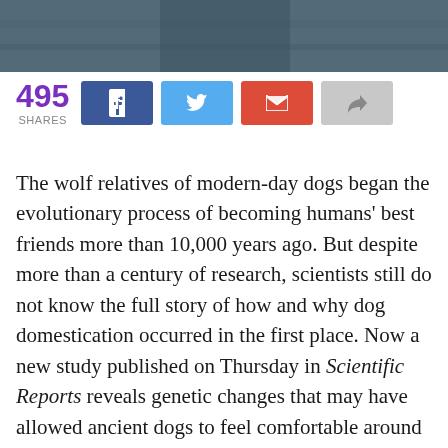[Figure (photo): Dark close-up photo strip at top of page, appears to show denim or fabric texture]
495 SHARES
[Figure (infographic): Social share buttons row: Facebook (blue), Twitter (light blue), Email (red), Forward/Share (gray)]
The wolf relatives of modern-day dogs began the evolutionary process of becoming humans' best friends more than 10,000 years ago. But despite more than a century of research, scientists still do not know the full story of how and why dog domestication occurred in the first place. Now a new study published on Thursday in Scientific Reports reveals genetic changes that may have allowed ancient dogs to feel comfortable around humans by lowering the stress levels the animals experienced in our presence.